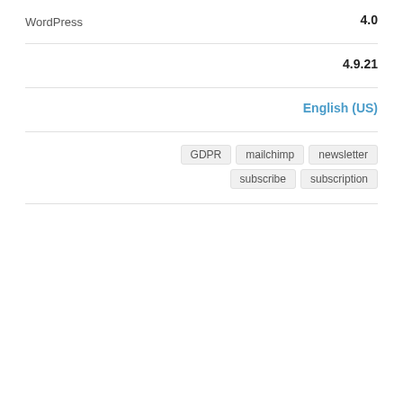| WordPress　　　 | 4.0 |
| 　　　　　　　 | 4.9.21 |
| 　　　 | English (US) |
| 　　　 | GDPR  mailchimp  newsletter  subscribe  subscription |